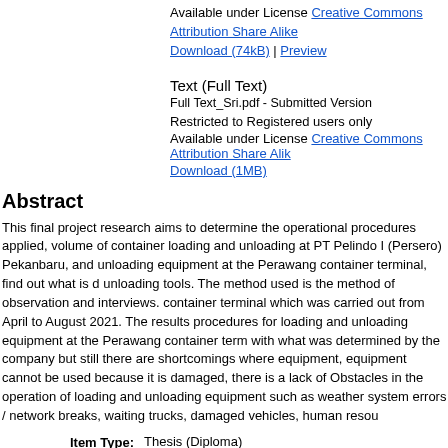Available under License Creative Commons Attribution Share Alike
Download (74kB) | Preview
Text (Full Text)
Full Text_Sri.pdf - Submitted Version
Restricted to Registered users only
Available under License Creative Commons Attribution Share Alike
Download (1MB)
Abstract
This final project research aims to determine the operational procedures applied, volume of container loading and unloading at PT Pelindo I (Persero) Pekanbaru, and unloading equipment at the Perawang container terminal, find out what is done unloading tools. The method used is the method of observation and interviews. container terminal which was carried out from April to August 2021. The results procedures for loading and unloading equipment at the Perawang container terminal with what was determined by the company but still there are shortcomings where equipment, equipment cannot be used because it is damaged, there is a lack of Obstacles in the operation of loading and unloading equipment such as weather system errors / network breaks, waiting trucks, damaged vehicles, human resources
| Contribution | Contributors | Email | N |
| --- | --- | --- | --- |
| Thesis advisor | Hendri, Jon | jon@polbeng.ac.id | NIDN |
Item Type: Thesis (Diploma)
Uncontrolled Keywords: Procedure, Container, Loading and Unloading equipment